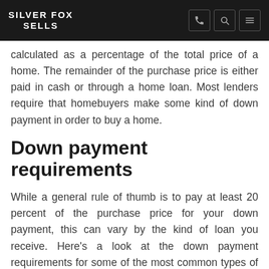SILVER FOX SELLS
calculated as a percentage of the total price of a home. The remainder of the purchase price is either paid in cash or through a home loan. Most lenders require that homebuyers make some kind of down payment in order to buy a home.
Down payment requirements
While a general rule of thumb is to pay at least 20 percent of the purchase price for your down payment, this can vary by the kind of loan you receive. Here's a look at the down payment requirements for some of the most common types of home loans: